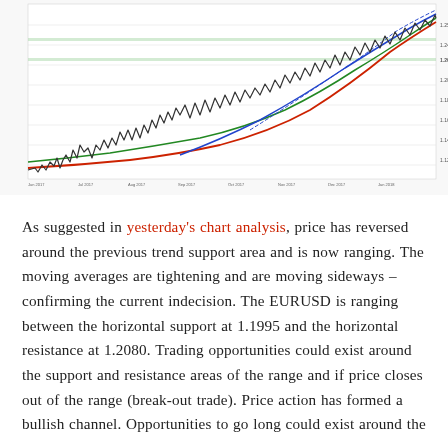[Figure (continuous-plot): EURUSD candlestick/line chart showing price action over time with upward trend, moving averages (red, green, blue lines), horizontal support/resistance levels, and price scale on right axis. Chart shows price rising from lower left to upper right with recent ranging/consolidation near the top.]
As suggested in yesterday's chart analysis, price has reversed around the previous trend support area and is now ranging. The moving averages are tightening and are moving sideways – confirming the current indecision. The EURUSD is ranging between the horizontal support at 1.1995 and the horizontal resistance at 1.2080. Trading opportunities could exist around the support and resistance areas of the range and if price closes out of the range (break-out trade). Price action has formed a bullish channel. Opportunities to go long could exist around the